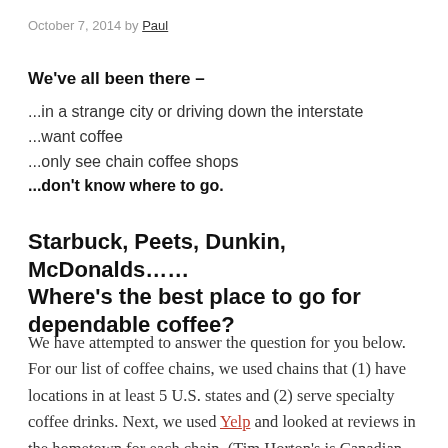October 7, 2014 by Paul
We've all been there –
...in a strange city or driving down the interstate
...want coffee
...only see chain coffee shops
...don't know where to go.
Starbuck, Peets, Dunkin, McDonalds...... Where's the best place to go for dependable coffee?
We have attempted to answer the question for you below. For our list of coffee chains, we used chains that (1) have locations in at least 5 U.S. states and (2) serve specialty coffee drinks. Next, we used Yelp and looked at reviews in the hometown for each chain. (Tim Horton's is Canadian, so we used Detroit locations for